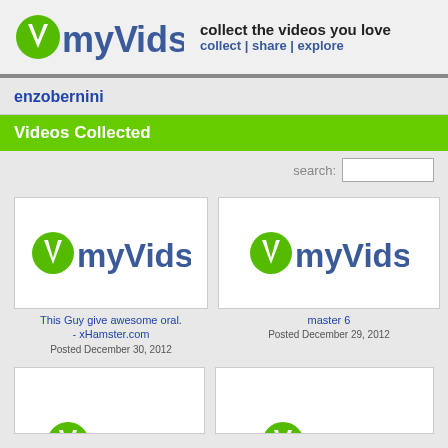myVidster — collect the videos you love | collect | share | explore
enzobernini
Videos Collected
search:
[Figure (screenshot): myVidster logo placeholder thumbnail for video: This Guy give awesome oral. - xHamster.com]
This Guy give awesome oral. - xHamster.com
Posted December 30, 2012
[Figure (screenshot): myVidster logo placeholder thumbnail for video: master 6]
master 6
Posted December 29, 2012
[Figure (screenshot): myVidster logo placeholder thumbnail, partial view]
[Figure (screenshot): myVidster logo placeholder thumbnail, partial view]